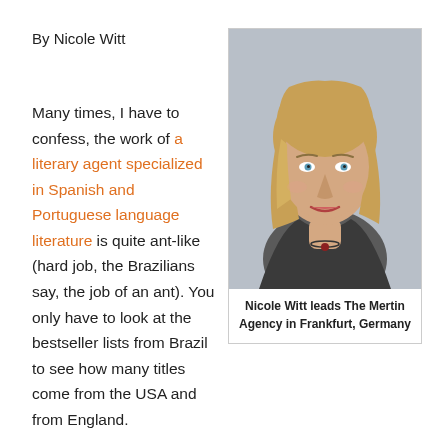By Nicole Witt
[Figure (photo): Portrait photo of Nicole Witt, a blonde woman in a dark blazer, smiling slightly, with a light gray background.]
Nicole Witt leads The Mertin Agency in Frankfurt, Germany
Many times, I have to confess, the work of a literary agent specialized in Spanish and Portuguese language literature is quite ant-like (hard job, the Brazilians say, the job of an ant). You only have to look at the bestseller lists from Brazil to see how many titles come from the USA and from England.